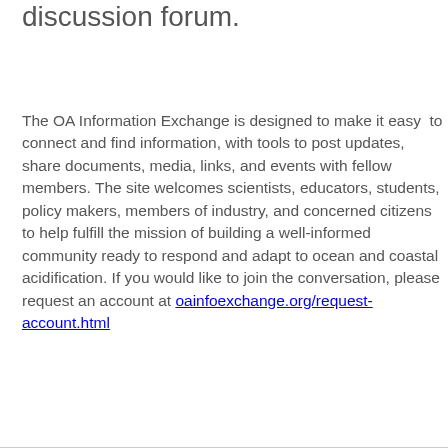discussion forum.
The OA Information Exchange is designed to make it easy to connect and find information, with tools to post updates, share documents, media, links, and events with fellow members. The site welcomes scientists, educators, students, policy makers, members of industry, and concerned citizens to help fulfill the mission of building a well-informed community ready to respond and adapt to ocean and coastal acidification. If you would like to join the conversation, please request an account at oainfoexchange.org/request-account.html